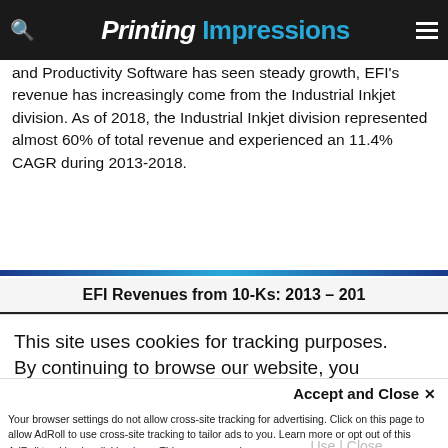Printing Impressions
and Productivity Software has seen steady growth, EFI's revenue has increasingly come from the Industrial Inkjet division. As of 2018, the Industrial Inkjet division represented almost 60% of total revenue and experienced an 11.4% CAGR during 2013-2018.
EFI Revenues from 10-Ks: 2013 – 201
This site uses cookies for tracking purposes. By continuing to browse our website, you agree to the storing of first- and third-party cookies on your device to enhance site navigation, analyze site usage, and assist in our marketing and
Accept and Close ✕
Your browser settings do not allow cross-site tracking for advertising. Click on this page to allow AdRoll to use cross-site tracking to tailor ads to you. Learn more or opt out of this AdRoll tracking by clicking here. This message only appears once.